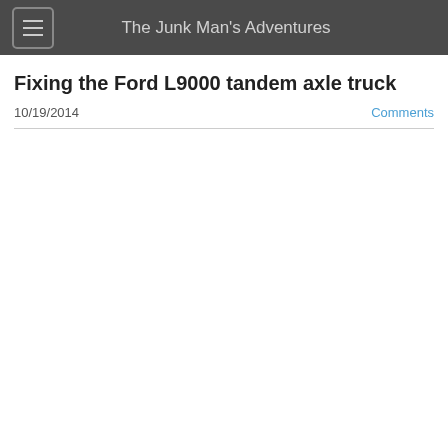The Junk Man's Adventures
Fixing the Ford L9000 tandem axle truck
10/19/2014
Comments